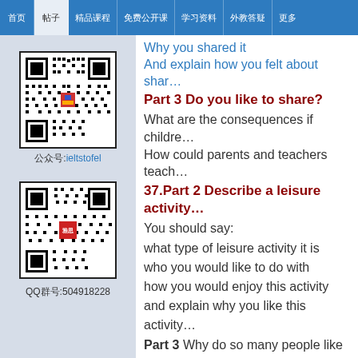Navigation bar with tabs in Chinese and highlighted active tab
Why you shared it
And explain how you felt about sharing it
Part 3 Do you like to share?
What are the consequences if children don't learn to share?
How could parents and teachers teach children to share?
37.Part 2 Describe a leisure activity
You should say:
what type of leisure activity it is
who you would like to do with
how you would enjoy this activity
and explain why you like this activity
Part 3 Why do so many people like going to the beach? What kinds of leisure time activities do people like to do near a lake etc.?As a place to spend some time, is it more suitable for children or for old people?Do you know anyone who lives near they go to a beach?What activities w... near the ocean?Why do some people
[Figure (other): QR code for ieltstofel with label below]
公众号:ieltstofel
[Figure (other): QR code for 504918228 with label below]
QQ群号:504918228